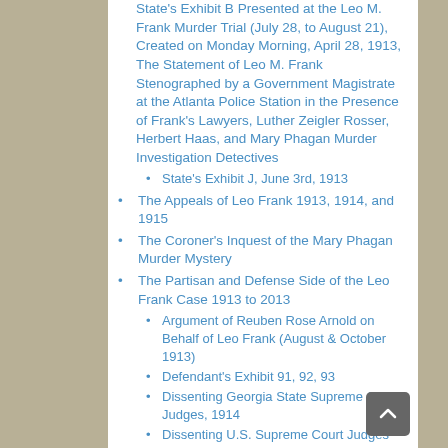State's Exhibit B Presented at the Leo M. Frank Murder Trial (July 28, to August 21), Created on Monday Morning, April 28, 1913, The Statement of Leo M. Frank Stenographed by a Government Magistrate at the Atlanta Police Station in the Presence of Frank's Lawyers, Luther Zeigler Rosser, Herbert Haas, and Mary Phagan Murder Investigation Detectives
State's Exhibit J, June 3rd, 1913
The Appeals of Leo Frank 1913, 1914, and 1915
The Coroner's Inquest of the Mary Phagan Murder Mystery
The Partisan and Defense Side of the Leo Frank Case 1913 to 2013
Argument of Reuben Rose Arnold on Behalf of Leo Frank (August & October 1913)
Defendant's Exhibit 91, 92, 93
Dissenting Georgia State Supreme Court Judges, 1914
Dissenting U.S. Supreme Court Judges
Luther Zeigler Rosser, August 22, 1913, The Final Arguments of Luther Z. Rosser on Behalf of Mr. Leo Max Frank Charged on May 24